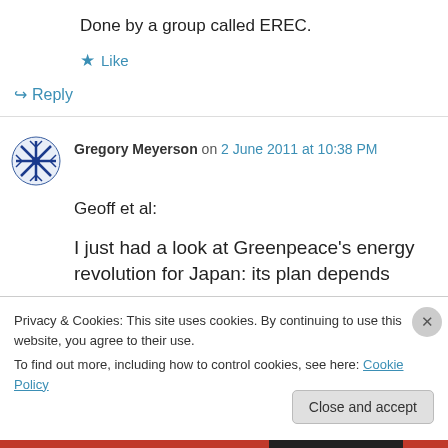Done by a group called EREC.
★ Like
↪ Reply
Gregory Meyerson on 2 June 2011 at 10:38 PM
Geoff et al:
I just had a look at Greenpeace's energy revolution for Japan: its plan depends upon a
Privacy & Cookies: This site uses cookies. By continuing to use this website, you agree to their use.
To find out more, including how to control cookies, see here: Cookie Policy
Close and accept